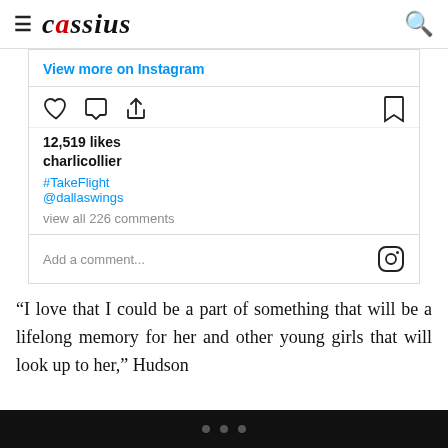cassius
View more on Instagram
12,519 likes
charlicollier
#TakeFlight @dallaswings
view all 226 comments
Add a comment...
“I love that I could be a part of something that will be a lifelong memory for her and other young girls that will look up to her,” Hudson